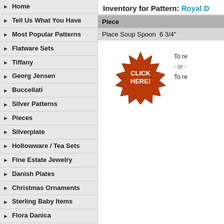Home
Tell Us What You Have
Most Popular Patterns
Flatware Sets
Tiffany
Georg Jensen
Buccellati
Silver Patterns
Pieces
Silverplate
Hollowware / Tea Sets
Fine Estate Jewelry
Danish Plates
Christmas Ornaments
Sterling Baby Items
Flora Danica
Royal Copenhagen China
Polish & Silver Storage
Books
Inventory for Pattern: Royal D
| Piece |
| --- |
| Place Soup Spoon  6 3/4" |
[Figure (other): Red starburst button with text CLICK HERE!]
To re
- or -
To re